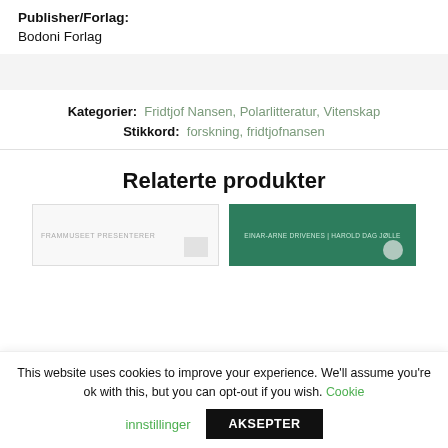Publisher/Forlag:
Bodoni Forlag
Kategorier:  Fridtjof Nansen, Polarlitteratur, Vitenskap
Stikkord:  forskning, fridtjofnansen
Relaterte produkter
[Figure (photo): Two book cover thumbnails side by side — left is white/light with small text 'FRAMMUSEET PRESENTERER', right is dark green with small white text including author names.]
This website uses cookies to improve your experience. We'll assume you're ok with this, but you can opt-out if you wish.  Cookie innstillinger  AKSEPTER